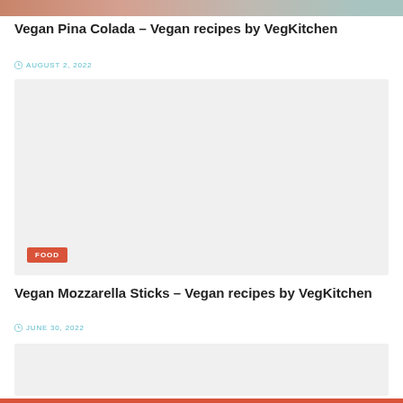[Figure (photo): Top portion of a food photo, partially cropped at top of page]
Vegan Pina Colada – Vegan recipes by VegKitchen
AUGUST 2, 2022
[Figure (photo): Light gray placeholder image with FOOD category badge in bottom-left corner]
Vegan Mozzarella Sticks – Vegan recipes by VegKitchen
JUNE 30, 2022
[Figure (photo): Light gray placeholder image, partially visible at bottom of page]